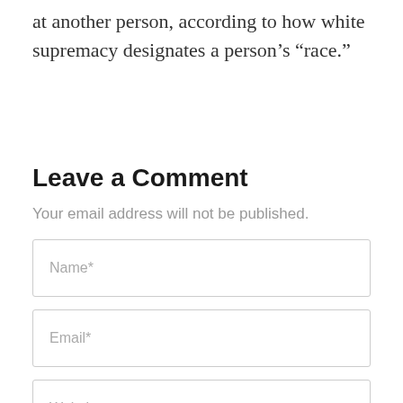at another person, according to how white supremacy designates a person's “race.”
Leave a Comment
Your email address will not be published.
Name*
Email*
Website